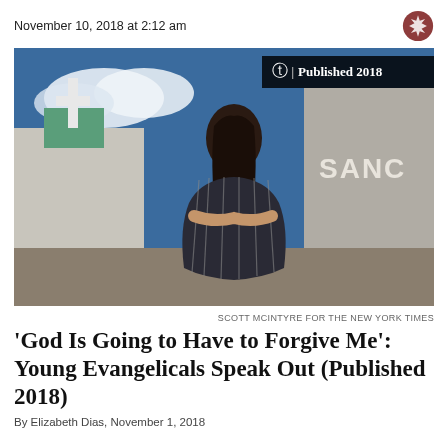November 10, 2018 at 2:12 am
[Figure (photo): A young woman with long dark hair and a striped off-shoulder dress stands with arms crossed in front of a church building showing a white cross and the partial word SANC. Blue sky with clouds in the background. Badge reads: NYT logo | Published 2018]
SCOTT MCINTYRE FOR THE NEW YORK TIMES
'God Is Going to Have to Forgive Me': Young Evangelicals Speak Out (Published 2018)
By Elizabeth Dias, November 1, 2018